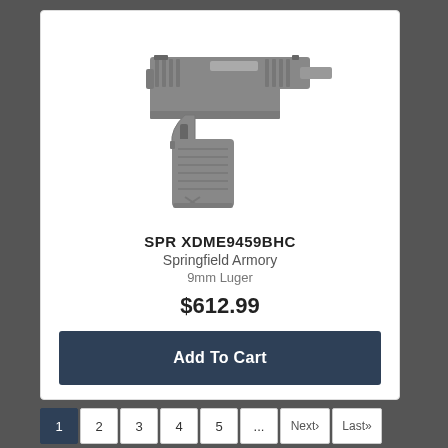[Figure (photo): Springfield Armory XD-M Elite pistol in gray/polymer finish, angled view showing slide serrations, rail, and grip texture]
SPR XDME9459BHC
Springfield Armory
9mm Luger
$612.99
Add To Cart
1  2  3  4  5  ...  Next›  Last»